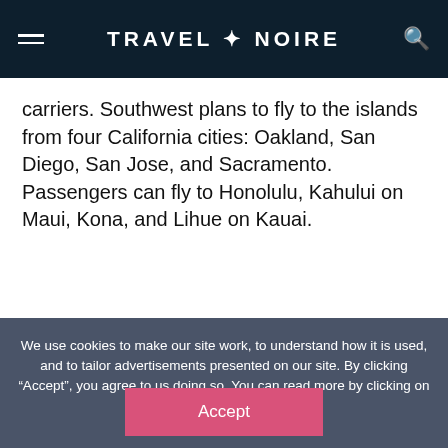TRAVEL + NOIRE
carriers. Southwest plans to fly to the islands from four California cities: Oakland, San Diego, San Jose, and Sacramento. Passengers can fly to Honolulu, Kahului on Maui, Kona, and Lihue on Kauai.
We use cookies to make our site work, to understand how it is used, and to tailor advertisements presented on our site. By clicking “Accept”, you agree to us doing so. You can read more by clicking on our privacy policy here.
Accept